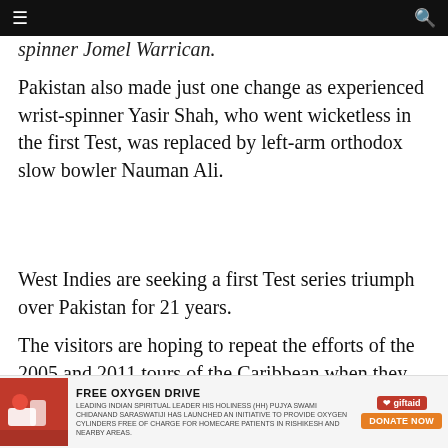≡  🔍
spinner Jomel Warrican.
Pakistan also made just one change as experienced wrist-spinner Yasir Shah, who went wicketless in the first Test, was replaced by left-arm orthodox slow bowler Nauman Ali.
West Indies are seeking a first Test series triumph over Pakistan for 21 years.
The visitors are hoping to repeat the efforts of the 2005 and 2011 tours of the Caribbean when they lost the first encounters before rebounding to square both two-Test series.
[Figure (infographic): Advertisement banner for FREE OXYGEN DRIVE with giftaid logo and DONATE NOW button]